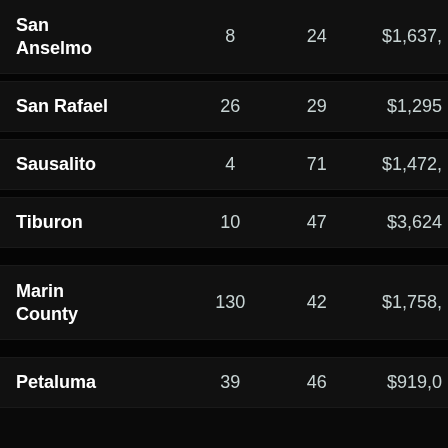| Location | Col2 | Col3 | Col4 |
| --- | --- | --- | --- |
| San Anselmo | 8 | 24 | $1,637, |
| San Rafael | 26 | 29 | $1,295 |
| Sausalito | 4 | 71 | $1,472, |
| Tiburon | 10 | 47 | $3,624 |
| Marin County | 130 | 42 | $1,758, |
| Petaluma | 39 | 46 | $919,0 |